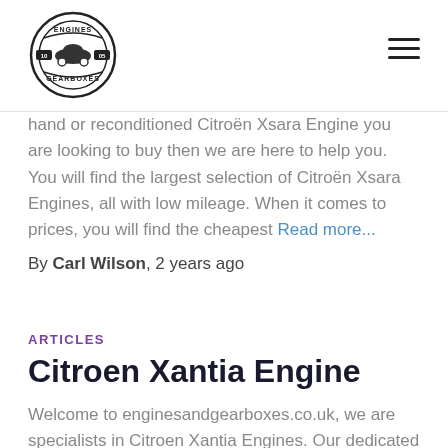[Figure (logo): Engines and Gearboxes circular badge logo with car silhouette and '10 05' text]
hand or reconditioned Citroën Xsara Engine you are looking to buy then we are here to help you. You will find the largest selection of Citroën Xsara Engines, all with low mileage. When it comes to prices, you will find the cheapest Read more...
By Carl Wilson, 2 years ago
ARTICLES
Citroen Xantia Engine
Welcome to enginesandgearboxes.co.uk, we are specialists in Citroen Xantia Engines. Our dedicated customer service representatives are available to help you with your enquires and our team of expert technicians are ready to help you with all makes and models of engines. We have invested in the most modern and